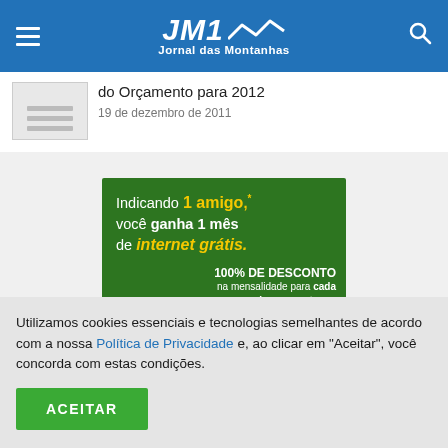JM1 Jornal das Montanhas
do Orçamento para 2012
19 de dezembro de 2011
[Figure (infographic): Green advertisement banner: Indicando 1 amigo,* você ganha 1 mês de internet grátis. 100% DE DESCONTO na mensalidade para cada amigo que se tornar cliente Conect!]
Utilizamos cookies essenciais e tecnologias semelhantes de acordo com a nossa Política de Privacidade e, ao clicar em "Aceitar", você concorda com estas condições.
ACEITAR